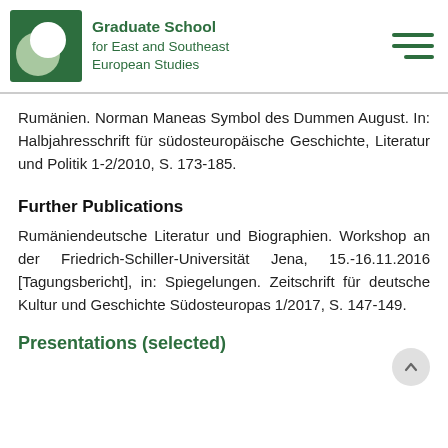Graduate School for East and Southeast European Studies
Rumänien. Norman Maneas Symbol des Dummen August. In: Halbjahresschrift für südosteuropäische Geschichte, Literatur und Politik 1-2/2010, S. 173-185.
Further Publications
Rumäniendeutsche Literatur und Biographien. Workshop an der Friedrich-Schiller-Universität Jena, 15.-16.11.2016 [Tagungsbericht], in: Spiegelungen. Zeitschrift für deutsche Kultur und Geschichte Südosteuropas 1/2017, S. 147-149.
Presentations (selected)